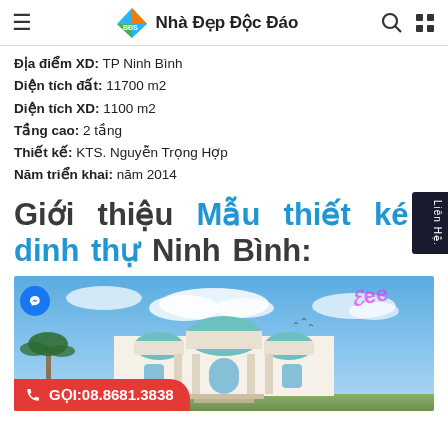Nhà Đẹp Độc Đáo
Địa điểm XD: TP Ninh Bình
Diện tích đất: 11700 m2
Diện tích XD: 1100 m2
Tầng cao: 2 tầng
Thiết kế: KTS. Nguyễn Trọng Hợp
Năm triển khai: năm 2014
Giới thiệu Mẫu thiết kế dinh thự Ninh Bình:
[Figure (photo): Architectural rendering of a grand Vietnamese mansion/palace with neoclassical style domes and white facade set against a blue sky with palm trees.]